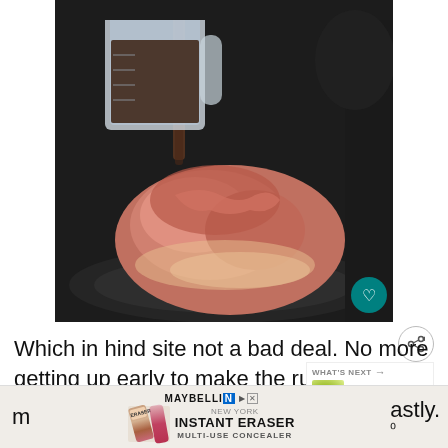[Figure (photo): A measuring cup pouring dark liquid (root beer) into a slow cooker containing a raw pork roast with pink/red meat visible, shot on dark background with blurred depth of field. A teal heart icon button is visible in the bottom right corner of the photo.]
Which in hind site not a bad deal. No more getting up early to make the rub and mixture. Now all I need is root beer and I can
[Figure (other): WHAT'S NEXT arrow label with thumbnail of Super Easy Key Lime Pi... recipe]
[Figure (other): Advertisement banner: Maybelline INSTANT ERASER MULTI-USE CONCEALER with product image showing eraser/concealer tube against beige background. Has close button (X). Partially overlapped by page text on left and right sides.]